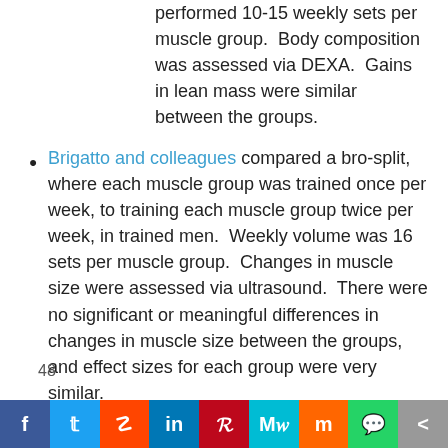performed 10-15 weekly sets per muscle group.  Body composition was assessed via DEXA.  Gains in lean mass were similar between the groups.
Brigatto and colleagues compared a bro-split, where each muscle group was trained once per week, to training each muscle group twice per week, in trained men.  Weekly volume was 16 sets per muscle group.  Changes in muscle size were assessed via ultrasound.  There were no significant or meaningful differences in changes in muscle size between the groups, and effect sizes for each group were very similar.
48